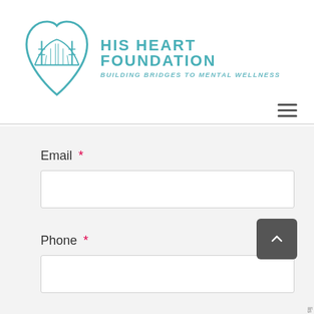[Figure (logo): His Heart Foundation logo: heart shape with Golden Gate Bridge inside, teal/turquoise color]
HIS HEART FOUNDATION
BUILDING BRIDGES TO MENTAL WELLNESS
Email *
Phone *
Address *